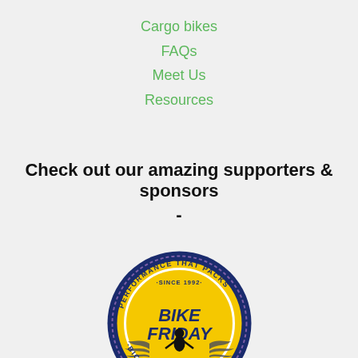Cargo bikes
FAQs
Meet Us
Resources
Check out our amazing supporters & sponsors -
[Figure (logo): Bike Friday circular logo with dark blue and yellow colors. Text reads 'Performance That Packs Since 1992' around the top, 'Bike Friday' in the center yellow area, and 'Bicycles That Fly' around the bottom. Features a winged figure in the center.]